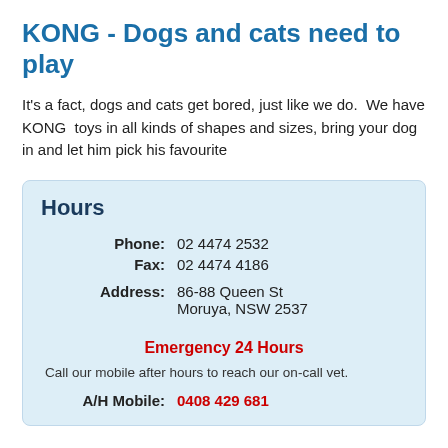KONG - Dogs and cats need to play
It's a fact, dogs and cats get bored, just like we do.  We have KONG  toys in all kinds of shapes and sizes, bring your dog in and let him pick his favourite
Hours
Phone: 02 4474 2532
Fax: 02 4474 4186
Address: 86-88 Queen St, Moruya, NSW 2537
Emergency 24 Hours
Call our mobile after hours to reach our on-call vet.
A/H Mobile: 0408 429 681